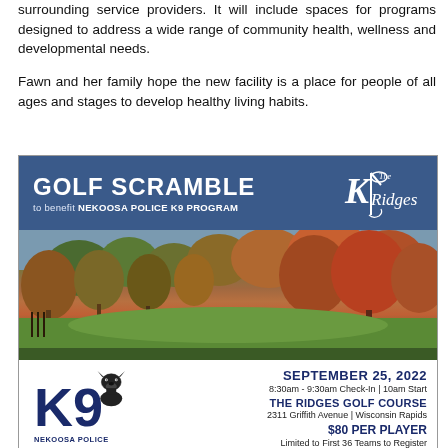surrounding service providers. It will include spaces for programs designed to address a wide range of community health, wellness and developmental needs.
Fawn and her family hope the new facility is a place for people of all ages and stages to develop healthy living habits.
[Figure (infographic): Golf Scramble advertisement to benefit Nekoosa Police K9 Program at The Ridges Golf Course. September 25, 2022. 8:30am-9:30am Check-In | 10am Start. 2311 Griffith Avenue | Wisconsin Rapids. $80 Per Player. Limited to First 36 Teams to Register. Features autumn golf course photo and K9 police dog logo.]